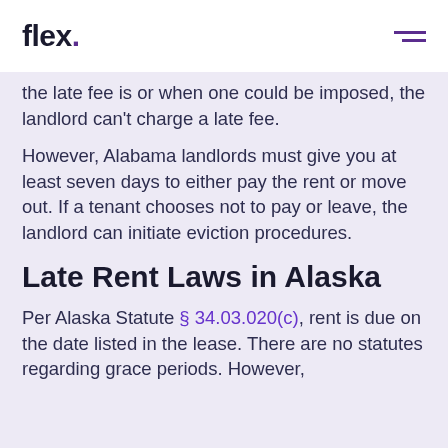flex.
the late fee is or when one could be imposed, the landlord can't charge a late fee.
However, Alabama landlords must give you at least seven days to either pay the rent or move out. If a tenant chooses not to pay or leave, the landlord can initiate eviction procedures.
Late Rent Laws in Alaska
Per Alaska Statute § 34.03.020(c), rent is due on the date listed in the lease. There are no statutes regarding grace periods. However,